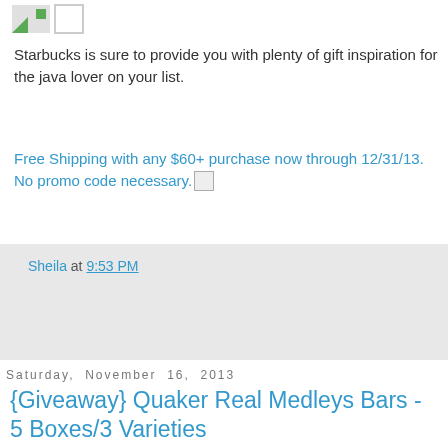[Figure (other): Small broken image icon and checkbox icon at top left]
Starbucks is sure to provide you with plenty of gift inspiration for the java lover on your list.
Free Shipping with any $60+ purchase now through 12/31/13. No promo code necessary.
Sheila at 9:53 PM
Share
Saturday, November 16, 2013
{Giveaway} Quaker Real Medleys Bars - 5 Boxes/3 Varieties
Today's moms are busy, busy, busy. Between juggling my family, work, this ole blog, and social activities, time is tight. There isn't always time to make myself a full breakfast or